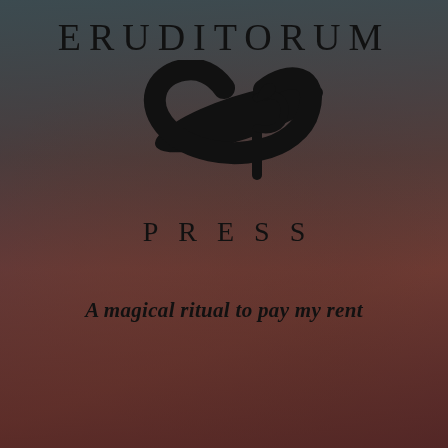[Figure (logo): Eruditorum Press logo with stylized EP monogram, the word PRESS in spaced capitals, and tagline 'A magical ritual to pay my rent', overlaid on a dark reddish-teal background with a mythological painting.]
ERUDITORUM
PRESS
A magical ritual to pay my rent